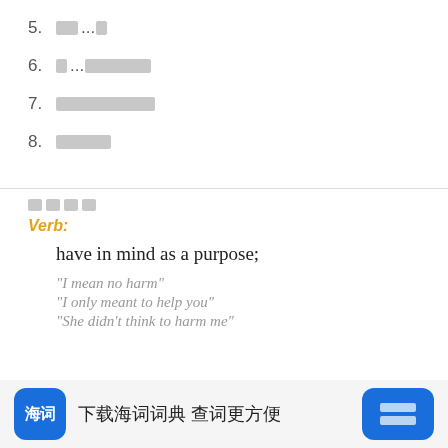5. ██...█
6. █...██████
7. █████████
8. █████
████
Verb:
have in mind as a purpose;
"I mean no harm" "I only meant to help you" "She didn't think to harm me"
下载海词词典 查词更方便